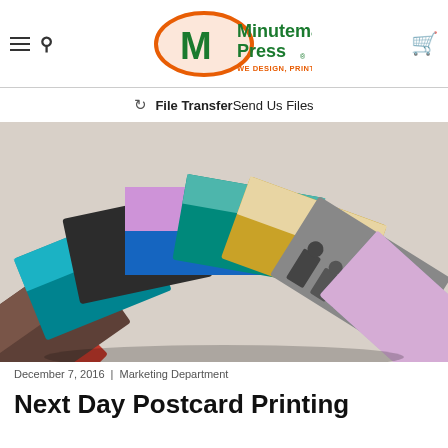Minuteman Press — WE DESIGN, PRINT & PROMOTE...YOU!
File Transfer Send Us Files
[Figure (photo): Fan of colorful printed postcards/magazines spread out against a white background, showing various designs including red, teal, black, brown, and multicolor cards.]
December 7, 2016 | Marketing Department
Next Day Postcard Printing